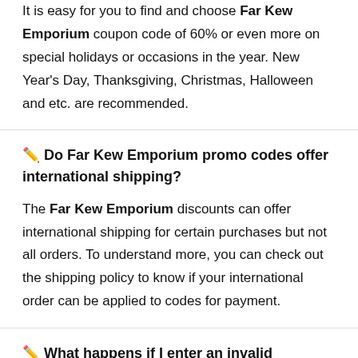It is easy for you to find and choose Far Kew Emporium coupon code of 60% or even more on special holidays or occasions in the year. New Year's Day, Thanksgiving, Christmas, Halloween and etc. are recommended.
🔏 Do Far Kew Emporium promo codes offer international shipping?
The Far Kew Emporium discounts can offer international shipping for certain purchases but not all orders. To understand more, you can check out the shipping policy to know if your international order can be applied to codes for payment.
🔏 What happens if I enter an invalid discount code on Far Kew Emporium website?